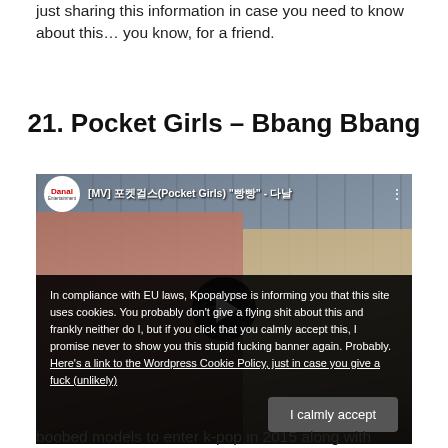just sharing this information in case you need to know about this… you know, for a friend.
21.  Pocket Girls – Bbang Bbang
[Figure (screenshot): YouTube embedded video thumbnail for '[MV] 포켓걸스(Pocket Girls) "빵빵" - 다날' showing two young women in an industrial setting, with a play button in the center. A cookie consent overlay appears at the bottom reading: In compliance with EU laws, Kpopalypse is informing you that this site uses cookies. You probably don't give a flying shit about this and frankly neither do I, but if you click that you calmly accept this, I promise never to show you this stupid fucking banner again. Probably. Here's a link to the Wordpress Cookie Policy, just in case you give a fuck (unlikely). With an 'I calmly accept' button.]
boobed models to enter k-pop in 2015 along with